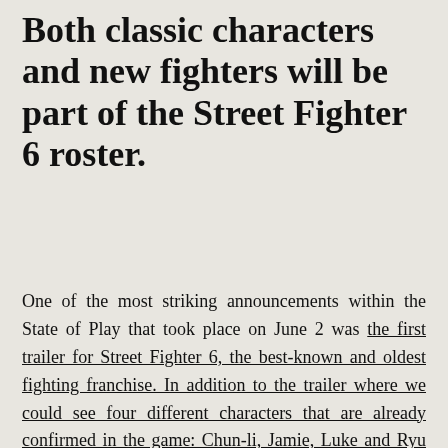Both classic characters and new fighters will be part of the Street Fighter 6 roster.
One of the most striking announcements within the State of Play that took place on June 2 was the first trailer for Street Fighter 6, the best-known and oldest fighting franchise. In addition to the trailer where we could see four different characters that are already confirmed in the game: Chun-li, Jamie, Luke and Ryu were seen in different fights showing some of their most emblematic techniques. But thanks to a leak published on Resetera we could already know what the